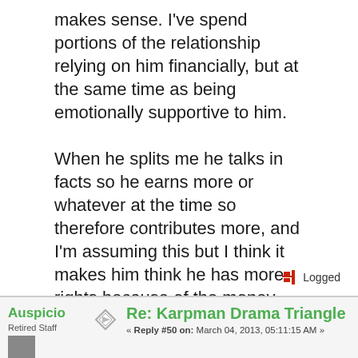makes sense. I've spend portions of the relationship relying on him financially, but at the same time as being emotionally supportive to him.

When he splits me he talks in facts so he earns more or whatever at the time so therefore contributes more, and I'm assuming this but I think it makes him think he has more rights because of the money thing.
Logged
Re: Karpman Drama Triangle
« Reply #50 on: March 04, 2013, 05:11:15 AM »